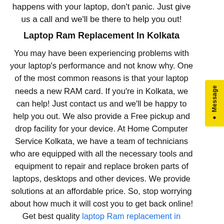happens with your laptop, don't panic. Just give us a call and we'll be there to help you out!
Laptop Ram Replacement In Kolkata
You may have been experiencing problems with your laptop's performance and not know why. One of the most common reasons is that your laptop needs a new RAM card. If you're in Kolkata, we can help! Just contact us and we'll be happy to help you out. We also provide a Free pickup and drop facility for your device. At Home Computer Service Kolkata, we have a team of technicians who are equipped with all the necessary tools and equipment to repair and replace broken parts of laptops, desktops and other devices. We provide solutions at an affordable price. So, stop worrying about how much it will cost you to get back online! Get best quality laptop Ram replacement in